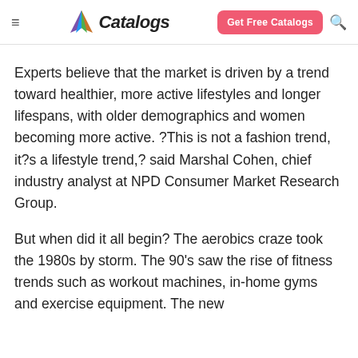Catalogs | Get Free Catalogs
Experts believe that the market is driven by a trend toward healthier, more active lifestyles and longer lifespans, with older demographics and women becoming more active. ?This is not a fashion trend, it?s a lifestyle trend,? said Marshal Cohen, chief industry analyst at NPD Consumer Market Research Group.
But when did it all begin? The aerobics craze took the 1980s by storm. The 90’s saw the rise of fitness trends such as workout machines, in-home gyms and exercise equipment. The new